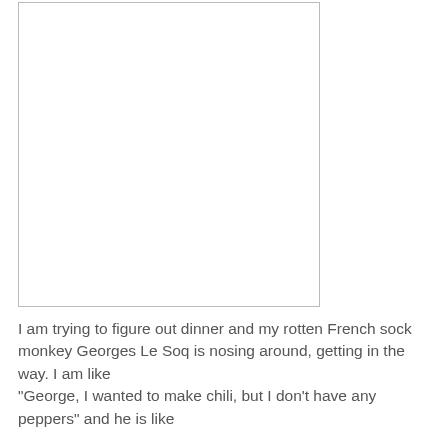[Figure (other): Empty white rectangle with light gray border, representing an image placeholder]
I am trying to figure out dinner and my rotten French sock monkey Georges Le Soq is nosing around, getting in the way. I am like
"George, I wanted to make chili, but I don't have any peppers" and he is like